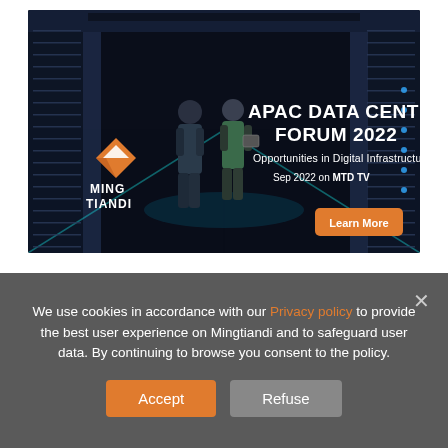[Figure (advertisement): APAC Data Centre Forum 2022 advertisement banner by Ming Tiandi. Dark data center corridor background with two people walking. Text: 'APAC DATA CENTRE FORUM 2022', 'Opportunities in Digital Infrastructure', 'Sep 2022 on MTD TV'. Orange 'Learn More' button. Ming Tiandi logo with orange diamond shape on bottom left.]
We use cookies in accordance with our Privacy policy to provide the best user experience on Mingtiandi and to safeguard user data. By continuing to browse you consent to the policy.